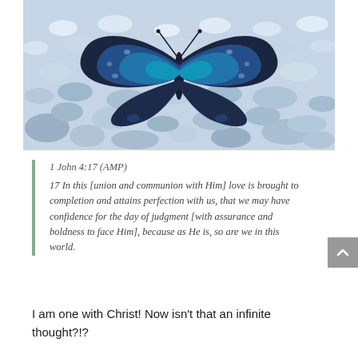[Figure (photo): A dark blue butterfly with iridescent wings resting on light-colored rocky ground/pebbles. The butterfly has detailed wing patterns.]
1 John 4:17 (AMP)
17 In this [union and communion with Him] love is brought to completion and attains perfection with us, that we may have confidence for the day of judgment [with assurance and boldness to face Him], because as He is, so are we in this world.
I am one with Christ! Now isn't that an infinite thought?!?